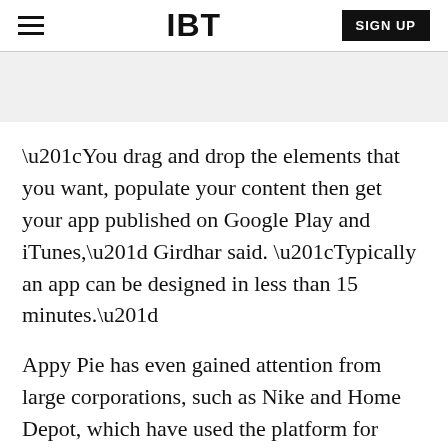IBT | SIGN UP
“You drag and drop the elements that you want, populate your content then get your app published on Google Play and iTunes,” Girdhar said. “Typically an app can be designed in less than 15 minutes.”
Appy Pie has even gained attention from large corporations, such as Nike and Home Depot, which have used the platform for creating applications for